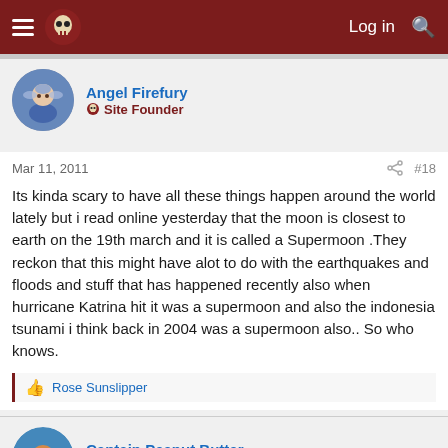Log in | Search
Angel Firefury
🏴‍☠️ Site Founder
Mar 11, 2011  #18
Its kinda scary to have all these things happen around the world lately but i read online yesterday that the moon is closest to earth on the 19th march and it is called a Supermoon .They reckon that this might have alot to do with the earthquakes and floods and stuff that has happened recently also when hurricane Katrina hit it was a supermoon and also the indonesia tsunami i think back in 2004 was a supermoon also.. So who knows.
Rose Sunslipper
Captain Peanut Butter
🏴‍☠️ Site Founder